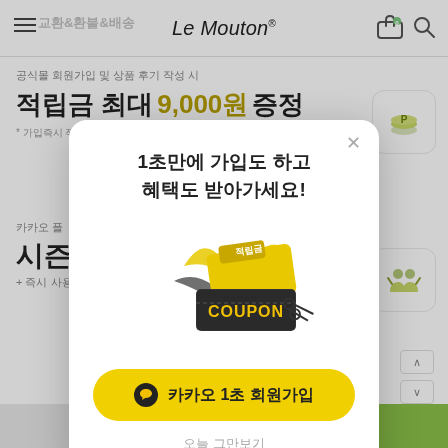Le Mouton
공식몰 회원가입 및 상품 후기 작성 시
적립금 최대 9,000원 증정
* 가입즉시 적립금 4,000원 + 포토리뷰 5000원 (텍스트리뷰 2,000원)
카카오 플
시즌블
+ 즉시 사용 가
[Figure (screenshot): Modal popup dialog with coupon image]
1초만에 가입도 하고
혜택도 받아가세요!
[Figure (illustration): Coupon image with scissors and yellow ribbon, text 적립금 and COUPON]
카카오 1초 회원가입
오늘 그만보기